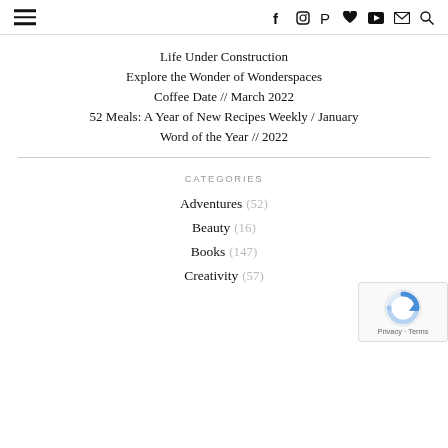≡  f  Instagram  Pinterest  ♥  YouTube  ✉  🔍
Life Under Construction
Explore the Wonder of Wonderspaces
Coffee Date // March 2022
52 Meals: A Year of New Recipes Weekly / January
Word of the Year // 2022
CATEGORIES
Adventures (52)
Beauty (16)
Books (147)
Creativity (57)